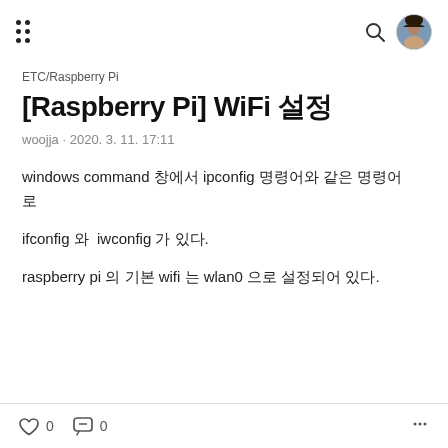ETC/Raspberry Pi
[Raspberry Pi] WiFi 설정
woojja · 2020. 3. 11. 17:11
windows command 창에서 ipconfig 명령어와 같은 명령어로
ifconfig 와  iwconfig 가 있다.
raspberry pi 의 기본 wifi 는 wlan0 으로 설정되어 있다.
0  0